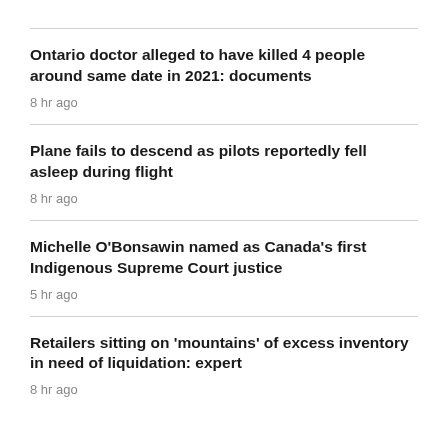Ontario doctor alleged to have killed 4 people around same date in 2021: documents
8 hr ago
Plane fails to descend as pilots reportedly fell asleep during flight
8 hr ago
Michelle O'Bonsawin named as Canada's first Indigenous Supreme Court justice
5 hr ago
Retailers sitting on 'mountains' of excess inventory in need of liquidation: expert
8 hr ago